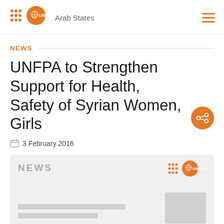UNFPA Arab States
NEWS
UNFPA to Strengthen Support for Health, Safety of Syrian Women, Girls
3 February 2016
[Figure (screenshot): Preview thumbnail of a NEWS article page with UNFPA logo, grey placeholder bars for text content and a grey image placeholder block.]